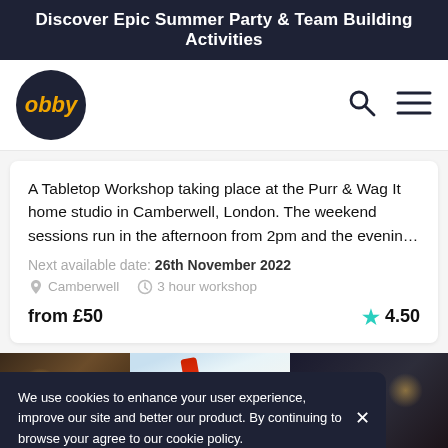Discover Epic Summer Party & Team Building Activities
[Figure (logo): Obby logo — dark navy circle with orange italic text 'obby']
A Tabletop Workshop taking place at the Purr & Wag It home studio in Camberwell, London. The weekend sessions run in the afternoon from 2pm and the evenin…
Next available date: 26th November 2022
Camberwell   3 hour workshop
from £50   ★ 4.50
[Figure (photo): Collage of three photos: dark bokeh bar scene on the left, pastel art with red element in center, dark bar scene on right]
We use cookies to enhance your user experience, improve our site and better our product. By continuing to browse your agree to our cookie policy.